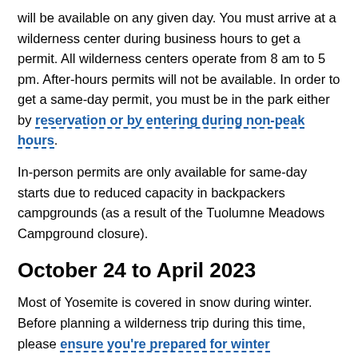will be available on any given day. You must arrive at a wilderness center during business hours to get a permit. All wilderness centers operate from 8 am to 5 pm. After-hours permits will not be available. In order to get a same-day permit, you must be in the park either by reservation or by entering during non-peak hours.
In-person permits are only available for same-day starts due to reduced capacity in backpackers campgrounds (as a result of the Tuolumne Meadows Campground closure).
October 24 to April 2023
Most of Yosemite is covered in snow during winter. Before planning a wilderness trip during this time, please ensure you're prepared for winter conditions.
From November through April, wilderness permits are still required. You can get a wilderness permit the day before or day you intend to start your hike at the permit issuing station nearest the trailhead.